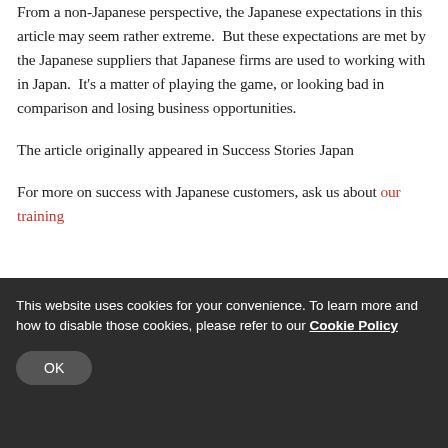From a non-Japanese perspective, the Japanese expectations in this article may seem rather extreme.  But these expectations are met by the Japanese suppliers that Japanese firms are used to working with in Japan.  It's a matter of playing the game, or looking bad in comparison and losing business opportunities.
The article originally appeared in Success Stories Japan
For more on success with Japanese customers, ask us about our training
This website uses cookies for your convenience. To learn more and how to disable those cookies, please refer to our Cookie Policy
OK